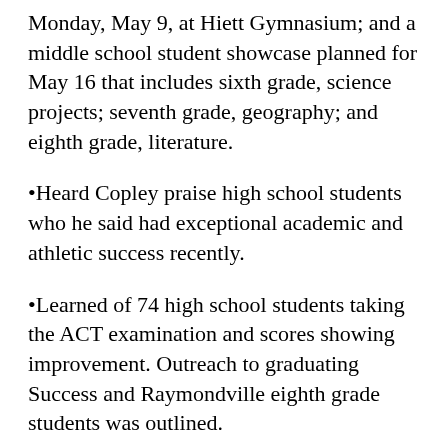Monday, May 9, at Hiett Gymnasium; and a middle school student showcase planned for May 16 that includes sixth grade, science projects; seventh grade, geography; and eighth grade, literature.
Heard Copley praise high school students who he said had exceptional academic and athletic success recently.
Learned of 74 high school students taking the ACT examination and scores showing improvement. Outreach to graduating Success and Raymondville eighth grade students was outlined.
Heard that Houston's success in developing career technical education was set to be part of a regional Missouri